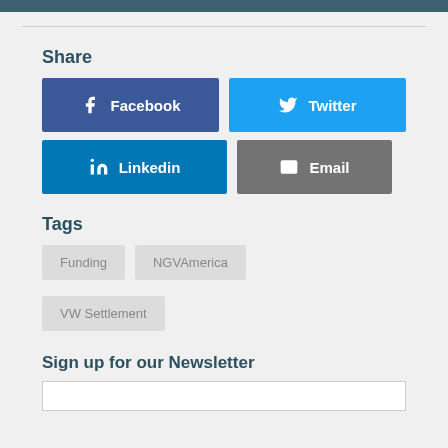Share
[Figure (infographic): Social share buttons: Facebook (dark blue), Twitter (light blue), Linkedin (medium blue), Email (gray)]
Tags
Funding
NGVAmerica
VW Settlement
Sign up for our Newsletter